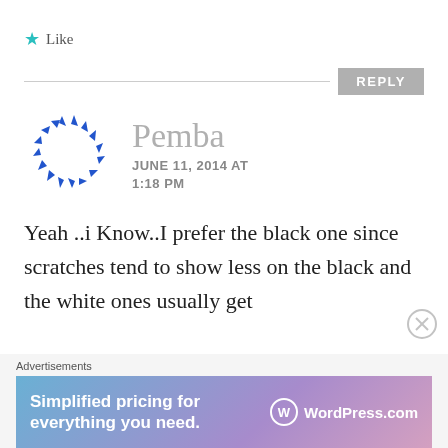★ Like
REPLY
[Figure (illustration): Circular arrow logo made of blue arrow shapes arranged in a ring]
Pemba
JUNE 11, 2014 AT 1:18 PM
Yeah ..i Know..I prefer the black one since scratches tend to show less on the black and the white ones usually get
Advertisements
[Figure (screenshot): WordPress.com advertisement banner: Simplified pricing for everything you need.]